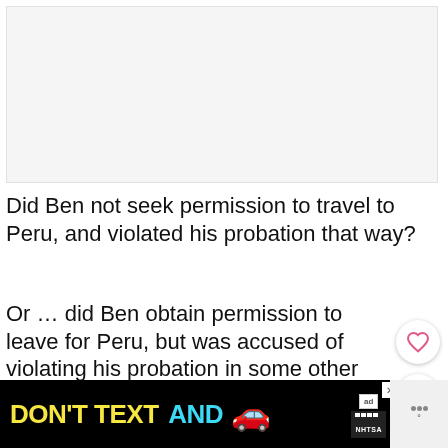[Figure (other): Blank/placeholder image area at top of page]
Did Ben not seek permission to travel to Peru, and violated his probation that way?
Or … did Ben obtain permission to leave for Peru, but was accused of violating his probation in some other way?
[Figure (infographic): Advertisement banner: DON'T TEXT AND [car emoji] with ad and NHTSA logos and close button]